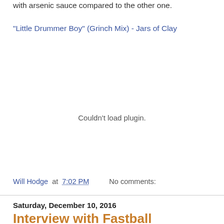with arsenic sauce compared to the other one.
"Little Drummer Boy" (Grinch Mix) - Jars of Clay
Couldn't load plugin.
Will Hodge at 7:02 PM    No comments:
Saturday, December 10, 2016
Interview with Fastball